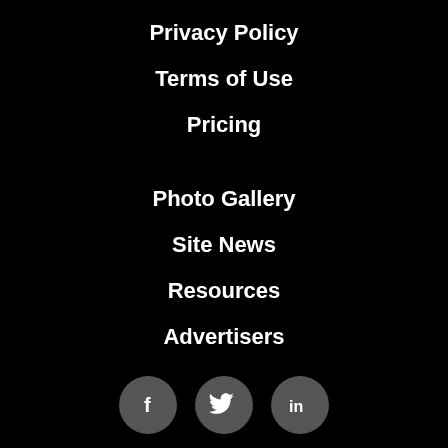Privacy Policy
Terms of Use
Pricing
Photo Gallery
Site News
Resources
Advertisers
[Figure (other): Three social media icon buttons: Facebook (f), Twitter (bird), LinkedIn (in), displayed as dark grey circles on black background]
Copyright © 2022 MarketGrabber.com All Rights Reserved.